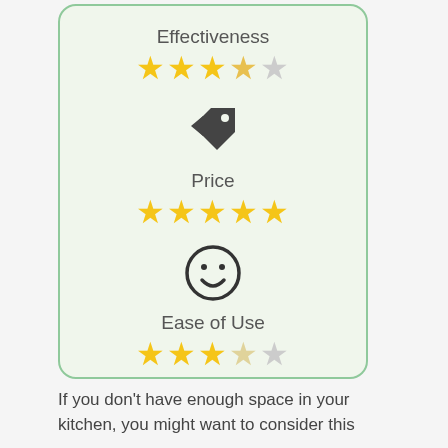[Figure (infographic): Rating card with green background showing Effectiveness (3.5/5 stars), price tag icon, Price (5/5 stars), smiley face icon, and Ease of Use (3/5 stars)]
If you don’t have enough space in your kitchen, you might want to consider this